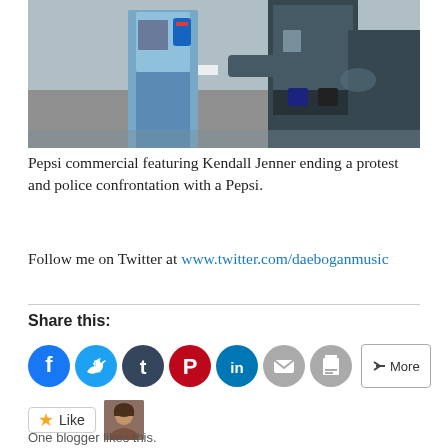[Figure (photo): Photo from a Pepsi commercial featuring Kendall Jenner, showing a person in a denim jacket appearing to hand a Pepsi can to a police officer.]
Pepsi commercial featuring Kendall Jenner ending a protest and police confrontation with a Pepsi.
Follow me on Twitter at www.twitter.com/daeboganmusic
Share this:
One blogger likes this.